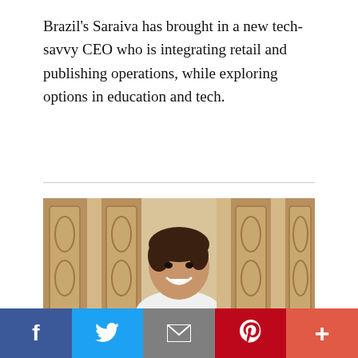Brazil's Saraiva has brought in a new tech-savvy CEO who is integrating retail and publishing operations, while exploring options in education and tech.
[Figure (photo): Portrait photo of a smiling man with dark hair, wearing a white shirt, standing in front of decorative wooden panels]
Social share bar with icons for Facebook, Twitter, Email, Pinterest, and More